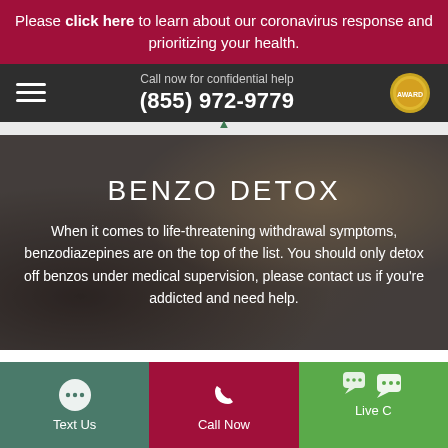Please click here to learn about our coronavirus response and prioritizing your health.
Call now for confidential help
(855) 972-9779
[Figure (photo): Hero image of people celebrating with arms raised, overlaid with dark tint]
BENZO DETOX
When it comes to life-threatening withdrawal symptoms, benzodiazepines are on the top of the list. You should only detox off benzos under medical supervision, please contact us if you're addicted and need help.
Text Us | Call Now | Live Chat